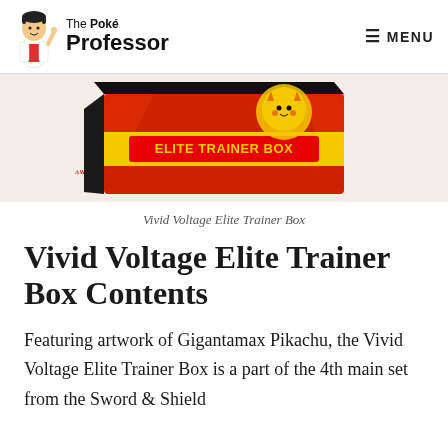The Poké Professor | MENU
[Figure (photo): Vivid Voltage Elite Trainer Box product photo showing red and yellow box with Pikachu lightning bolt design and 'ELITE TRAINER BOX' text]
Vivid Voltage Elite Trainer Box
Vivid Voltage Elite Trainer Box Contents
Featuring artwork of Gigantamax Pikachu, the Vivid Voltage Elite Trainer Box is a part of the 4th main set from the Sword & Shield